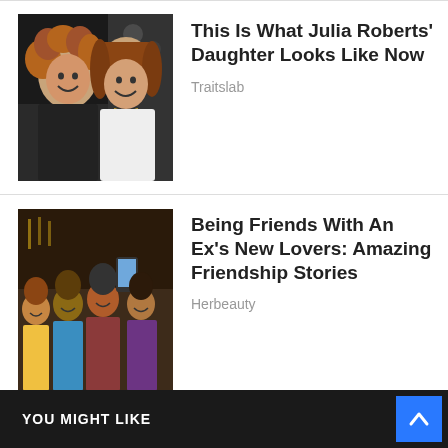[Figure (photo): Two women with curly brown hair smiling together at an indoor event]
This Is What Julia Roberts' Daughter Looks Like Now
Traitslab
[Figure (photo): Group of friends taking a selfie at a restaurant, smiling]
Being Friends With An Ex's New Lovers: Amazing Friendship Stories
Herbeauty
[Figure (photo): Young woman in sunglasses sitting with pizza on a checkered floor]
How To Lose Weight & Burn Fat While You Sleep
Herbeauty
YOU MIGHT LIKE